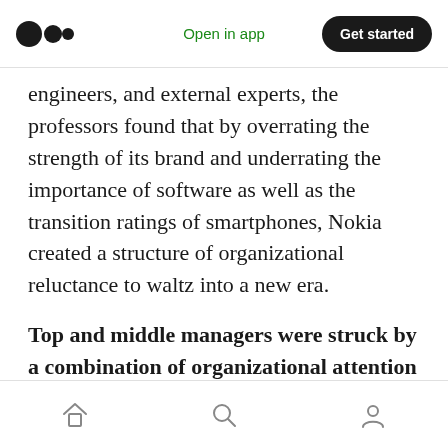Open in app | Get started
engineers, and external experts, the professors found that by overrating the strength of its brand and underrating the importance of software as well as the transition ratings of smartphones, Nokia created a structure of organizational reluctance to waltz into a new era.
Top and middle managers were struck by a combination of organizational attention structures and historical factors. The result was a storm of shared fear within operations.
Home | Search | Profile